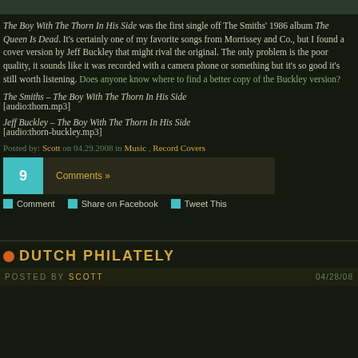The Boy With The Thorn In His Side was the first single off The Smiths' 1986 album The Queen Is Dead. It's certainly one of my favorite songs from Morrissey and Co., but I found a cover version by Jeff Buckley that might rival the original. The only problem is the poor quality, it sounds like it was recorded with a camera phone or something but it's so good it's still worth listening. Does anyone know where to find a better copy of the Buckley version?
The Smiths – The Boy With The Thorn In His Side
[audio:thorn.mp3]
Jeff Buckley – The Boy With The Thorn In His Side
[audio:thorn-buckley.mp3]
Posted by: Scott on 04.29.2008 in Music , Record Covers
9  Comments »
Comment  Share on Facebook  Tweet This
DUTCH PHILATELY
POSTED BY SCOTT  04/28/08